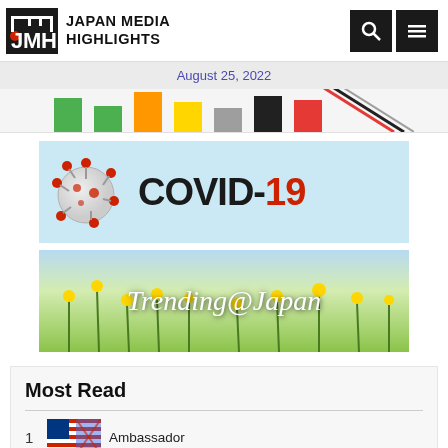[Figure (logo): Japan Media Highlights logo with JMH icon and text]
August 25, 2022
[Figure (photo): Partial view of a bar chart with colored pencils/markers]
[Figure (infographic): COVID-19 banner with virus illustration and bold text 'COVID-19' on light blue background]
[Figure (photo): Trending@Japan banner with yellow flower field background and italic text]
Most Read
1   Ambassador